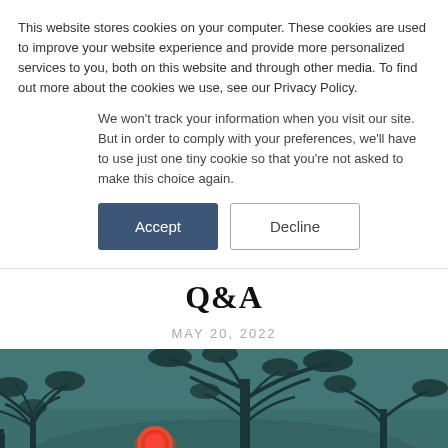This website stores cookies on your computer. These cookies are used to improve your website experience and provide more personalized services to you, both on this website and through other media. To find out more about the cookies we use, see our Privacy Policy.
We won't track your information when you visit our site. But in order to comply with your preferences, we'll have to use just one tiny cookie so that you're not asked to make this choice again.
Accept | Decline
Q&A
MAY 20, 2022
[Figure (photo): Silhouette of acacia trees against a teal/blue-green sky with a red-orange sunset sun near the horizon]